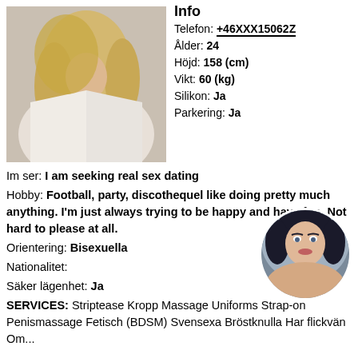[Figure (photo): Blonde woman in white shirt, profile/escort listing photo]
Info
Telefon: +46XXX15062Z
Ålder: 24
Höjd: 158 (cm)
Vikt: 60 (kg)
Silikon: Ja
Parkering: Ja
Im ser: I am seeking real sex dating
Hobby: Football, party, discothequel like doing pretty much anything. I'm just always trying to be happy and have fun. Not hard to please at all.
Orientering: Bisexuella
Nationalitet:
Säker lägenhet: Ja
SERVICES: Striptease Kropp Massage Uniforms Strap-on Penismassage Fetisch (BDSM) Svensexa Bröstknulla Har flickvän Om...
[Figure (photo): Dark-haired woman circular thumbnail photo]